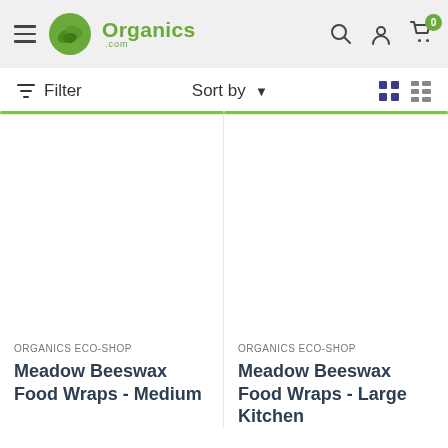Organics.com — navigation header with hamburger menu, logo, search, account, and cart icons
Filter  Sort by  [grid view] [list view]
ORGANICS ECO-SHOP
Meadow Beeswax Food Wraps - Medium
ORGANICS ECO-SHOP
Meadow Beeswax Food Wraps - Large Kitchen